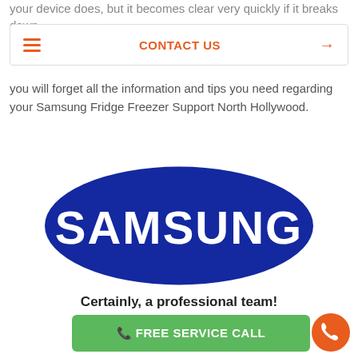your device does, but it becomes clear very quickly if it breaks down.
CONTACT US →
you will forget all the information and tips you need regarding your Samsung Fridge Freezer Support North Hollywood.
[Figure (logo): Samsung logo — white text 'SAMSUNG' on a blue ellipse background]
Certainly, a professional team!
📞 FREE SERVICE CALL